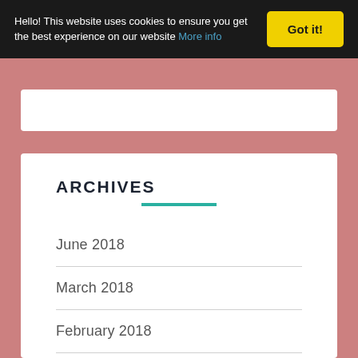Hello! This website uses cookies to ensure you get the best experience on our website More info
ARCHIVES
June 2018
March 2018
February 2018
January 2018
December 2017
November 2017